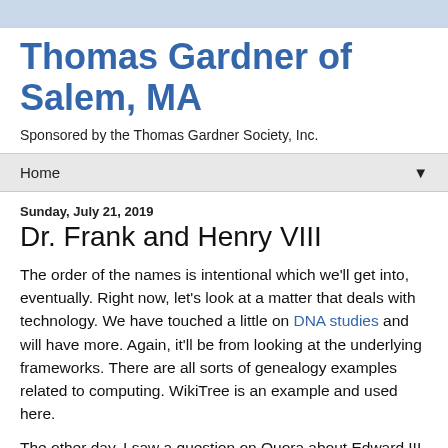Thomas Gardner of Salem, MA
Sponsored by the Thomas Gardner Society, Inc.
Home
Sunday, July 21, 2019
Dr. Frank and Henry VIII
The order of the names is intentional which we'll get into, eventually. Right now, let's look at a matter that deals with technology. We have touched a little on DNA studies and will have more. Again, it'll be from looking at the underlying frameworks. There are all sorts of genealogy examples related to computing. WikiTree is an example and used here.
The other day, I saw a question on Quora about Edward III. It